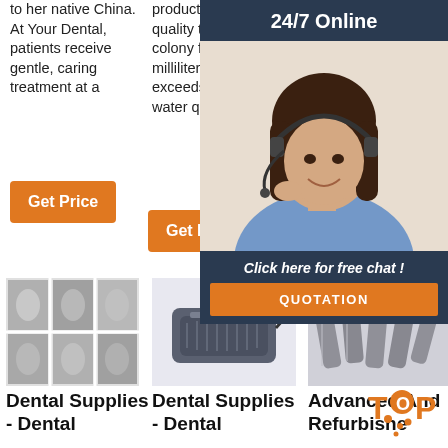to her native China. At Your Dental, patients receive gentle, caring treatment at a
product if the water quality test, specified in colony forming units per milliliter (CFU/ml), exceeds the clinic's water quality goals.
deliver superior value to the customer. Key Dates: 1964: Ken and Joan Austin start A-[cut off] Colora[cut off]
Get Price
Get Price
Get [cut off]
24/7 Online
[Figure (photo): Customer service representative woman wearing headset, smiling]
Click here for free chat !
QUOTATION
[Figure (photo): Grid of six grayscale dental x-ray or tooth images]
[Figure (photo): Dental foot pedal / control unit device, dark blue/grey color]
[Figure (photo): Dental handpiece tools and equipment]
Dental Supplies - Dental
Dental Supplies - Dental
Advanced And Refurbishe[cut off]
[Figure (infographic): TOP badge/arrow graphic in orange and dark color at bottom right]